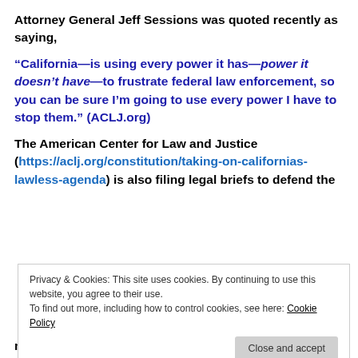Attorney General Jeff Sessions was quoted recently as saying,
“California—is using every power it has—power it doesn’t have—to frustrate federal law enforcement, so you can be sure I’m going to use every power I have to stop them.” (ACLJ.org)
The American Center for Law and Justice (https://aclj.org/constitution/taking-on-californias-lawless-agenda) is also filing legal briefs to defend the
Privacy & Cookies: This site uses cookies. By continuing to use this website, you agree to their use.
To find out more, including how to control cookies, see here: Cookie Policy
next to “Godfather” (and gutter-mouth) Mayor Rahm